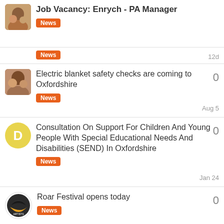Job Vacancy: Enrych - PA Manager
News
12d
News
12d
Electric blanket safety checks are coming to Oxfordshire
News
Aug 5
0
Consultation On Support For Children And Young People With Special Educational Needs And Disabilities (SEND) In Oxfordshire
News
Jan 24
0
Roar Festival opens today
News
Oct '21
0
Want to read more? Browse other topics in News or view latest topics.
1 / 1